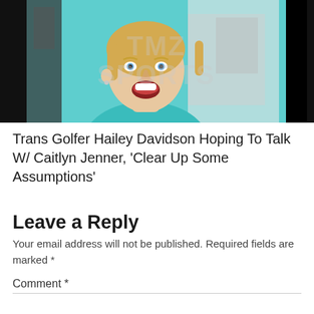[Figure (photo): Screenshot of a person with blonde hair and teal/turquoise shirt, mouth open as if speaking, with a TMZ Sports watermark overlay]
Trans Golfer Hailey Davidson Hoping To Talk W/ Caitlyn Jenner, ‘Clear Up Some Assumptions’
Leave a Reply
Your email address will not be published. Required fields are marked *
Comment *